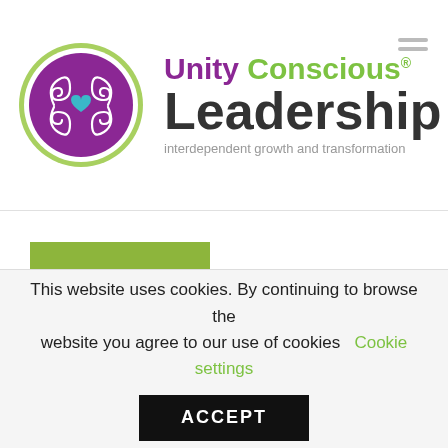[Figure (logo): Unity Conscious Leadership logo with circular purple and green emblem, text reading 'Unity Conscious Leadership' with tagline 'interdependent growth and transformation']
SEND
UNITY CONSCIOUS    RECENT BLOGS
This website uses cookies. By continuing to browse the website you agree to our use of cookies Cookie settings
ACCEPT